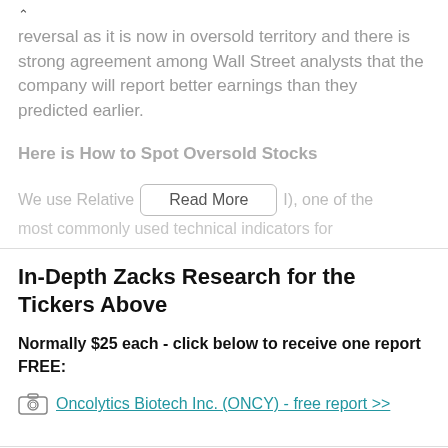reversal as it is now in oversold territory and there is strong agreement among Wall Street analysts that the company will report better earnings than they predicted earlier.
Here is How to Spot Oversold Stocks
We use Relative [Read More] I), one of the most commonly used technical indicators for
In-Depth Zacks Research for the Tickers Above
Normally $25 each - click below to receive one report FREE:
Oncolytics Biotech Inc. (ONCY) - free report >>
More From Zacks Tale Of The Tape